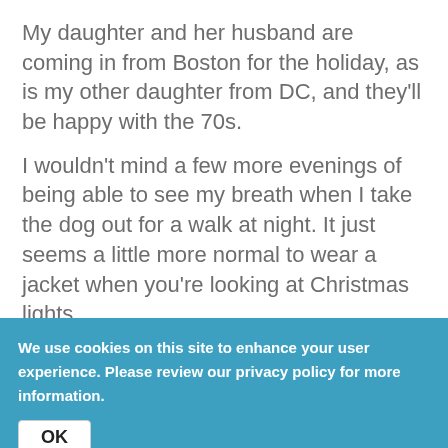My daughter and her husband are coming in from Boston for the holiday, as is my other daughter from DC, and they'll be happy with the 70s.
I wouldn't mind a few more evenings of being able to see my breath when I take the dog out for a walk at night. It just seems a little more normal to wear a jacket when you're looking at Christmas lights.
And I wouldn't mind throwing a couple of real logs in the fireplace on Christmas Eve (just don't rat me out to the county air quality monitors.)
We use cookies on this site to enhance your user experience. Please review our privacy policy for more information.